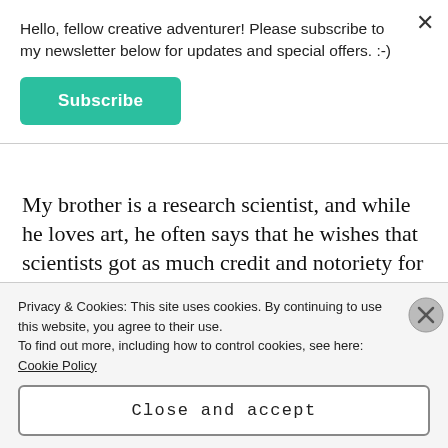Hello, fellow creative adventurer! Please subscribe to my newsletter below for updates and special offers. :-)
Subscribe
My brother is a research scientist, and while he loves art, he often says that he wishes that scientists got as much credit and notoriety for their work as artists do. I agree with this wholeheartedly, the sciences deserve much more support and praise than they often receive. However, so do the arts.
Privacy & Cookies: This site uses cookies. By continuing to use this website, you agree to their use.
To find out more, including how to control cookies, see here: Cookie Policy
Close and accept